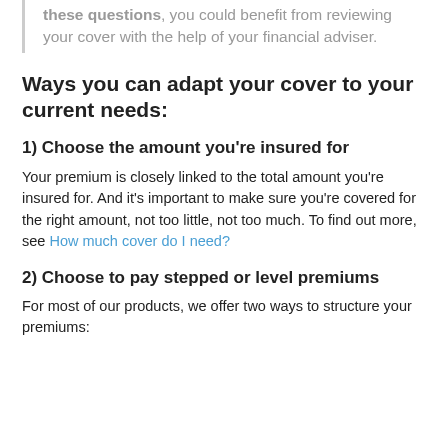these questions, you could benefit from reviewing your cover with the help of your financial adviser.
Ways you can adapt your cover to your current needs:
1) Choose the amount you're insured for
Your premium is closely linked to the total amount you're insured for. And it's important to make sure you're covered for the right amount, not too little, not too much. To find out more, see How much cover do I need?
2) Choose to pay stepped or level premiums
For most of our products, we offer two ways to structure your premiums: